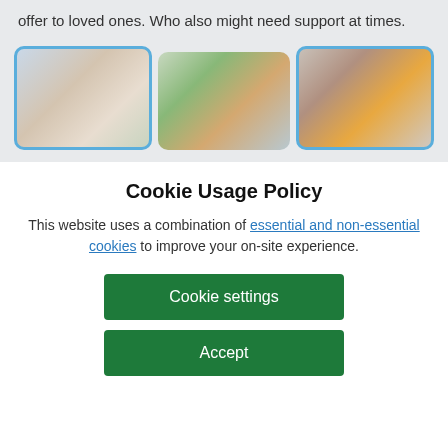offer to loved ones. Who also might need support at times.
[Figure (photo): Three photos showing groups of people: a multi-generational family smiling together, a caregiver with an elderly woman, and two elderly people having a conversation.]
Cookie Usage Policy
This website uses a combination of essential and non-essential cookies to improve your on-site experience.
Cookie settings
Accept